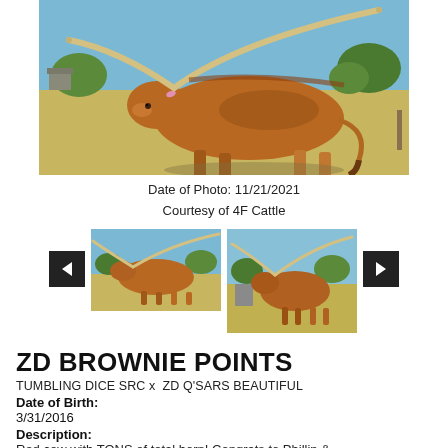[Figure (photo): Large photo of a brown Texas Longhorn cow standing in a field with wide horns visible, blue sky and trees in background]
Date of Photo: 11/21/2021
Courtesy of 4F Cattle
[Figure (photo): Thumbnail photo of brown Texas Longhorn cow with large horns standing in a dry field]
[Figure (photo): Thumbnail photo of brown Texas Longhorn cow with large horns standing in a field]
ZD BROWNIE POINTS
TUMBLING DICE SRC x  ZD Q'SARS BEAUTIFUL
Date of Birth:
3/31/2016
Description:
Red cow with TONS of total horn! Congrats to Phillip &